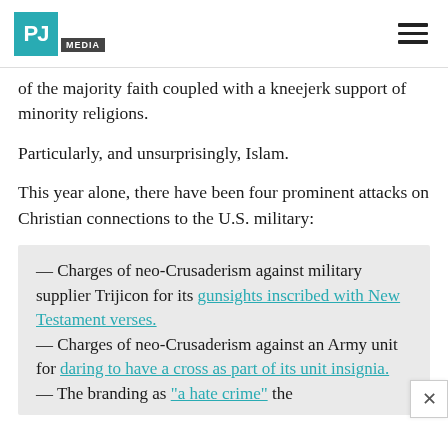PJ MEDIA
of the majority faith coupled with a kneejerk support of minority religions.
Particularly, and unsurprisingly, Islam.
This year alone, there have been four prominent attacks on Christian connections to the U.S. military:
— Charges of neo-Crusaderism against military supplier Trijicon for its gunsights inscribed with New Testament verses.
— Charges of neo-Crusaderism against an Army unit for daring to have a cross as part of its unit insignia.
— The branding as "a hate crime" the